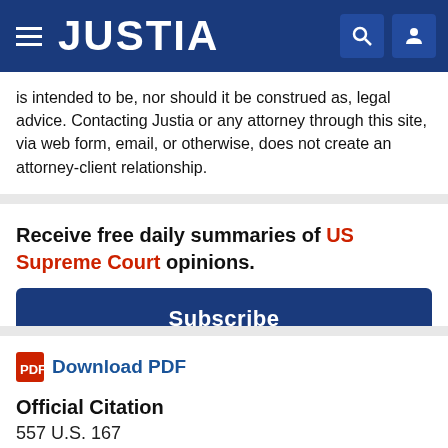JUSTIA
is intended to be, nor should it be construed as, legal advice. Contacting Justia or any attorney through this site, via web form, email, or otherwise, does not create an attorney-client relationship.
Receive free daily summaries of US Supreme Court opinions.
Subscribe
Download PDF
Official Citation
557 U.S. 167